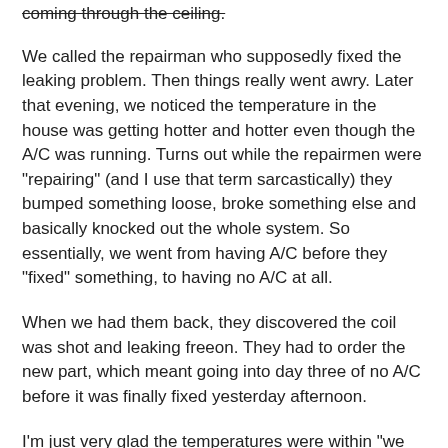coming through the ceiling.
We called the repairman who supposedly fixed the leaking problem. Then things really went awry. Later that evening, we noticed the temperature in the house was getting hotter and hotter even though the A/C was running. Turns out while the repairmen were "repairing" (and I use that term sarcastically) they bumped something loose, broke something else and basically knocked out the whole system. So essentially, we went from having A/C before they "fixed" something, to having no A/C at all.
When we had them back, they discovered the coil was shot and leaking freeon. They had to order the new part, which meant going into day three of no A/C before it was finally fixed yesterday afternoon.
I'm just very glad the temperatures were within "we can make it through alive" range during this saga. Thankfully, it got fairly cool in the evening and we used our whole house fan to cool down the house for the night before it starting heating up again during the next day. We made a dinner that required no heat and for dessert we enjoyed these: